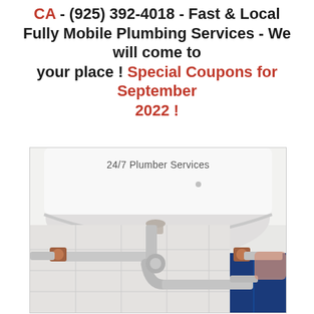CA - (925) 392-4018 - Fast & Local Fully Mobile Plumbing Services - We will come to your place ! Special Coupons for September 2022 !
[Figure (photo): Photo of bathroom sink plumbing pipes and fixtures underneath a white basin, showing chrome P-trap pipes, shutoff valves, and blue tiled wall. Text overlay reads '24/7 Plumber Services'.]